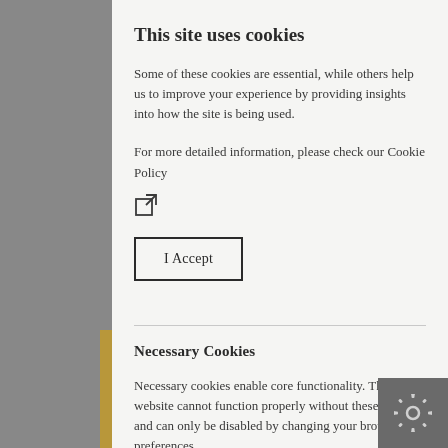This site uses cookies
Some of these cookies are essential, while others help us to improve your experience by providing insights into how the site is being used.
For more detailed information, please check our Cookie Policy
[Figure (illustration): External link icon (square with arrow pointing outward)]
I Accept
Necessary Cookies
Necessary cookies enable core functionality. The website cannot function properly without these cookies, and can only be disabled by changing your browser preferences.
Analytical / Performance cookies
[Figure (illustration): Gear/settings icon in bottom-right corner on dark background]